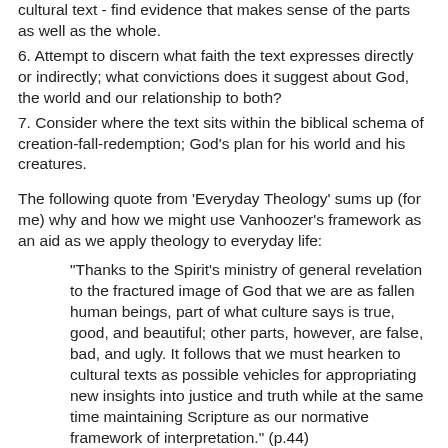cultural text - find evidence that makes sense of the parts as well as the whole.
6. Attempt to discern what faith the text expresses directly or indirectly; what convictions does it suggest about God, the world and our relationship to both?
7. Consider where the text sits within the biblical schema of creation-fall-redemption; God's plan for his world and his creatures.
The following quote from 'Everyday Theology' sums up (for me) why and how we might use Vanhoozer's framework as an aid as we apply theology to everyday life:
"Thanks to the Spirit's ministry of general revelation to the fractured image of God that we are as fallen human beings, part of what culture says is true, good, and beautiful; other parts, however, are false, bad, and ugly. It follows that we must hearken to cultural texts as possible vehicles for appropriating new insights into justice and truth while at the same time maintaining Scripture as our normative framework of interpretation." (p.44)